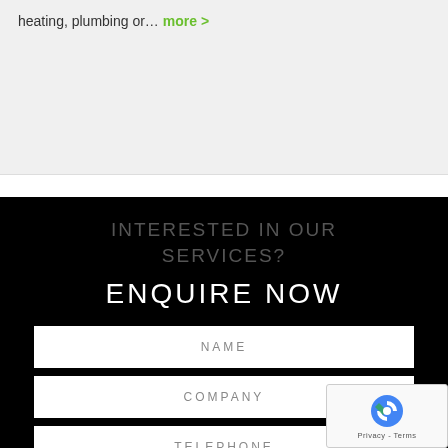heating, plumbing or… more >
INTERESTED IN OUR SERVICES?
ENQUIRE NOW
NAME
COMPANY
TELEPHONE
EMAIL